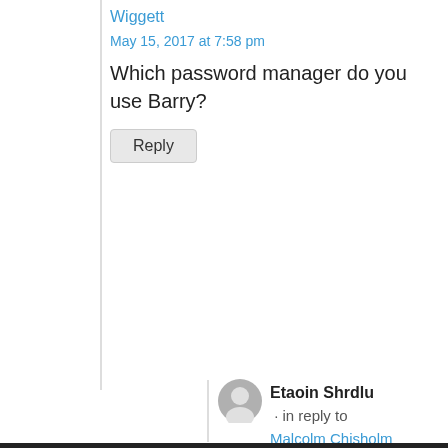Wiggett
May 15, 2017 at 7:58 pm
Which password manager do you use Barry?
Reply
Etaoin Shrdlu · in reply to Malcolm Chisholm
May 16, 2017 at 12:42 pm
Don't tell him, Pike!
Reply